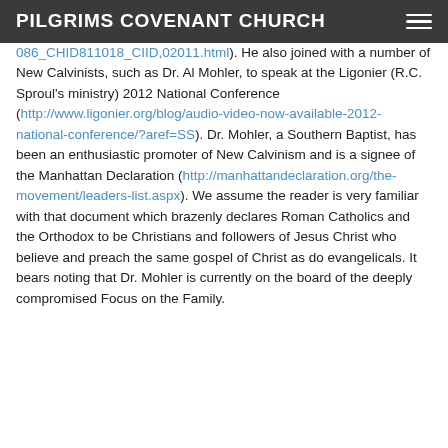PILGRIMS COVENANT CHURCH
086_CHID811018_CIID,02011.html). He also joined with a number of New Calvinists, such as Dr. Al Mohler, to speak at the Ligonier (R.C. Sproul's ministry) 2012 National Conference (http://www.ligonier.org/blog/audio-video-now-available-2012-national-conference/?aref=SS). Dr. Mohler, a Southern Baptist, has been an enthusiastic promoter of New Calvinism and is a signee of the Manhattan Declaration (http://manhattandeclaration.org/the-movement/leaders-list.aspx). We assume the reader is very familiar with that document which brazenly declares Roman Catholics and the Orthodox to be Christians and followers of Jesus Christ who believe and preach the same gospel of Christ as do evangelicals. It bears noting that Dr. Mohler is currently on the board of the deeply compromised Focus on the Family.